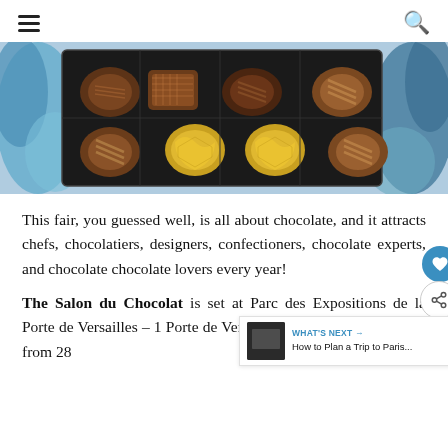≡  🔍
[Figure (photo): Top-down view of an open box of assorted chocolates — milk, dark, and gold-foil wrapped pieces in a black tray, set against blue painted background]
This fair, you guessed well, is all about chocolate, and it attracts chefs, chocolatiers, designers, confectioners, chocolate experts, and chocolate lovers every year!
The Salon du Chocolat is set at Parc des Expositions de la Porte de Versailles – 1 Porte de Versailles – in Paris 15, this year from 28